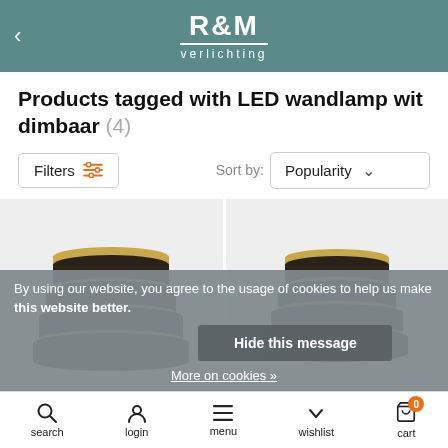R&M verlichting
Products tagged with LED wandlamp wit dimbaar (4)
Filters | Sort by: Popularity
[Figure (photo): Two Highlight Wall Lamp products shown side by side, dark brown/bronze layered cylindrical wall lamps with gold top detail]
By using our website, you agree to the usage of cookies to help us make this website better.
Hide this message
More on cookies »
Highlight Wall lamp
search  login  menu  wishlist  cart 0